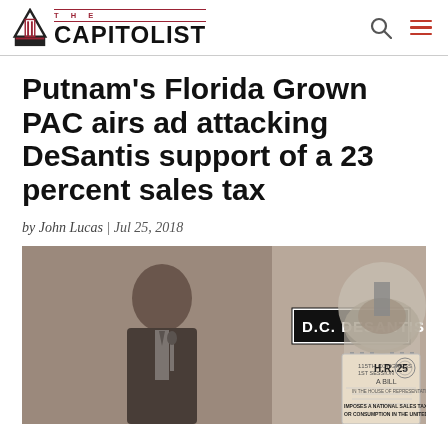THE CAPITOLIST
Putnam’s Florida Grown PAC airs ad attacking DeSantis support of a 23 percent sales tax
by John Lucas | Jul 25, 2018
[Figure (photo): Black and white photo of Ron DeSantis speaking at a podium with a microphone, overlaid with text 'D.C. DESANTIS' in bold black letters on a white background, and an image of the U.S. Capitol building dome on the right. In the lower right, a document labeled 'H.R. 25 A BILL' is visible with text mentioning 'IMPOSES A NATIONAL SALES TAX ON THE USE OR CONSUMPTION IN THE UNITED STATES OF'.]